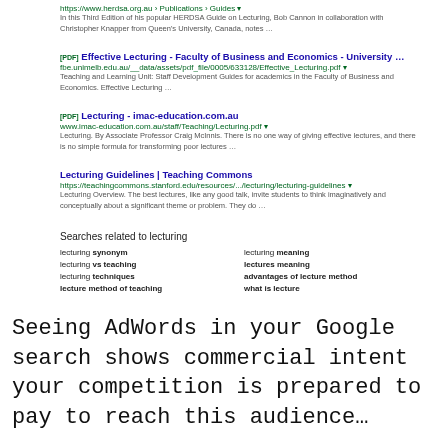[Figure (screenshot): Google search results page for 'lecturing' showing multiple results including HERDSA, University of Melbourne, imac-education.com.au, and Stanford Teaching Commons, plus related searches section and Google pagination logo]
Seeing AdWords in your Google search shows commercial intent your competition is prepared to pay to reach this audience…